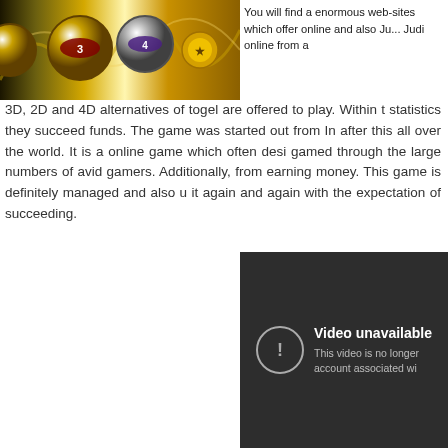[Figure (photo): Decorative image showing lottery/bingo themed elements with golden colors, balls with numbers]
You will find a enormous web-sites which offer online and also Judi online from a
3D, 2D and 4D alternatives of togel are offered to play. Within t statistics they succeed funds. The game was started out from In after this all over the world. It is a online game which often desi gamed through the large numbers of avid gamers. Additionally, from earning money. This game is definitely managed and also u it again and again with the expectation of succeeding.
[Figure (screenshot): Video unavailable placeholder with dark background. Shows icon with exclamation mark and text 'Video unavailable' and 'This video is no longer available account associated wi']